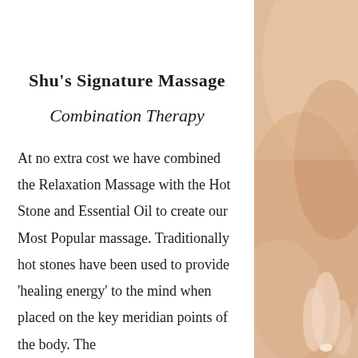[Figure (photo): Close-up photograph of a person's bare back/shoulder and hand, skin tones in warm beige and tan, shown on the right side of the page as a decorative image strip.]
Shu's Signature Massage
Combination Therapy
At no extra cost we have combined the Relaxation Massage with the Hot Stone and Essential Oil to create our Most Popular massage. Traditionally hot stones have been used to provide 'healing energy' to the mind when placed on the key meridian points of the body. The